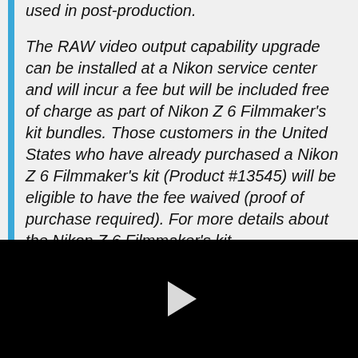used in post-production.

The RAW video output capability upgrade can be installed at a Nikon service center and will incur a fee but will be included free of charge as part of Nikon Z 6 Filmmaker's kit bundles. Those customers in the United States who have already purchased a Nikon Z 6 Filmmaker's kit (Product #13545) will be eligible to have the fee waived (proof of purchase required). For more details about the Nikon Z 6 Filmmaker's kit please visit...
[Figure (other): Black video player area with a white play button triangle in the center]